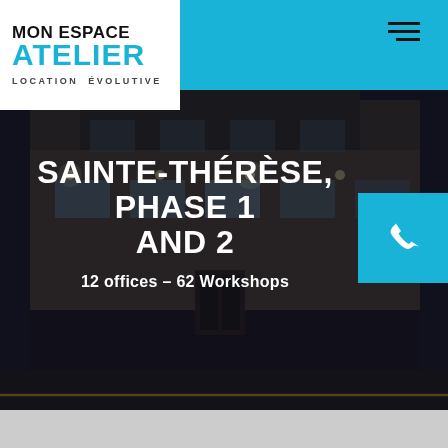[Figure (photo): Exterior night photo of a commercial/industrial building with brick facade, windows, and parking area in foreground. Dark moody lighting.]
[Figure (logo): Mon Espace Atelier logo — white box with black text 'MON ESPACE', blue text 'ATELIER', and gray subtitle 'LOCATION ÉVOLUTIVE']
SAINTE-THÉRÈSE, PHASE 1 AND 2
12 offices – 62 Workshops